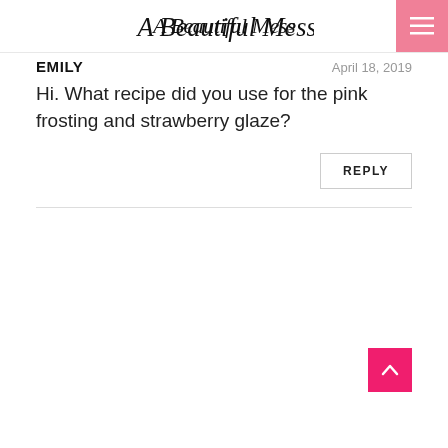A Beautiful Mess
EMILY   April 18, 2019
Hi. What recipe did you use for the pink frosting and strawberry glaze?
REPLY